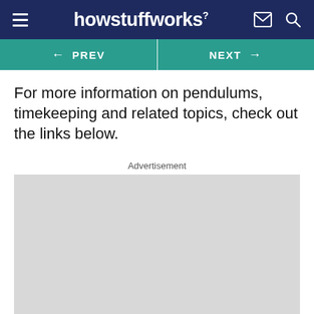howstuffworks
← PREV   NEXT →
For more information on pendulums, timekeeping and related topics, check out the links below.
Advertisement
[Figure (other): Gray advertisement placeholder box]